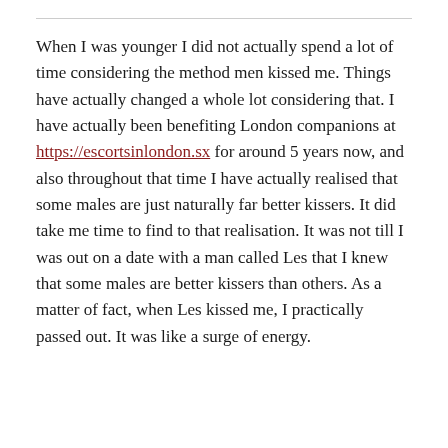When I was younger I did not actually spend a lot of time considering the method men kissed me. Things have actually changed a whole lot considering that. I have actually been benefiting London companions at https://escortsinlondon.sx for around 5 years now, and also throughout that time I have actually realised that some males are just naturally far better kissers. It did take me time to find to that realisation. It was not till I was out on a date with a man called Les that I knew that some males are better kissers than others. As a matter of fact, when Les kissed me, I practically passed out. It was like a surge of energy.